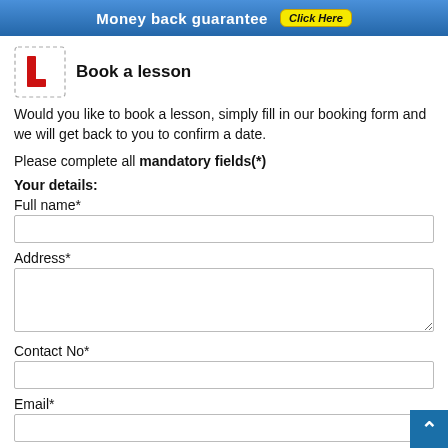[Figure (infographic): Blue banner with 'Money back guarantee' text and yellow 'Click Here' button]
Book a lesson
Would you like to book a lesson, simply fill in our booking form and we will get back to you to confirm a date.
Please complete all mandatory fields(*)
Your details:
Full name*
Address*
Contact No*
Email*